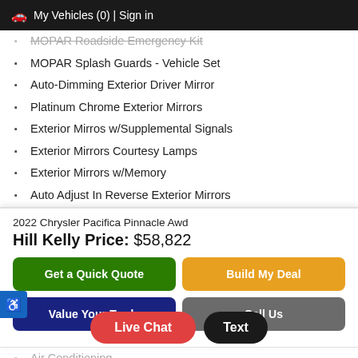My Vehicles (0) | Sign in
MOPAR Roadside Emergency Kit
MOPAR Splash Guards - Vehicle Set
Auto-Dimming Exterior Driver Mirror
Platinum Chrome Exterior Mirrors
Exterior Mirros w/Supplemental Signals
Exterior Mirrors Courtesy Lamps
Exterior Mirrors w/Memory
Auto Adjust In Reverse Exterior Mirrors
2022 Chrysler Pacifica Pinnacle Awd
Hill Kelly Price: $58,822
Get a Quick Quote
Build My Deal
Value Your Trade
Call Us
Air Conditioning
Electronic Stability Cont...
Front Bucket Seats
Live Chat
Text